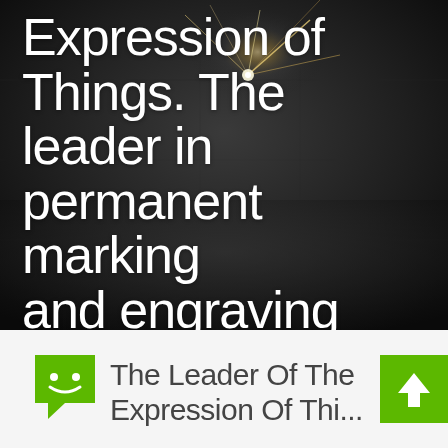[Figure (photo): Dark industrial background with spark/light effect, used as hero section background for a marking and engraving company (Gravotech)]
Expression of Things. The leader in permanent marking and engraving solutions.
Gravotech designs, manufactures, and distributes innovative solutions for engraving, marking, and cutting.
[Figure (illustration): Green chat/messenger icon with a smiley face]
The Leader Of The Expression Of Thi...
[Figure (illustration): Green scroll-to-top button with upward-pointing arrow]